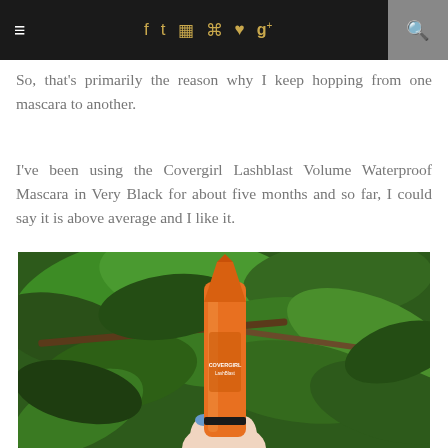≡  f  t  ☷  ⊕  ♥  g+  🔍
So, that's primarily the reason why I keep hopping from one mascara to another.
I've been using the Covergirl Lashblast Volume Waterproof Mascara in Very Black for about five months and so far, I could say it is above average and I like it.
[Figure (photo): Hand holding an orange Covergirl Lashblast mascara tube against a background of green leaves and branches.]